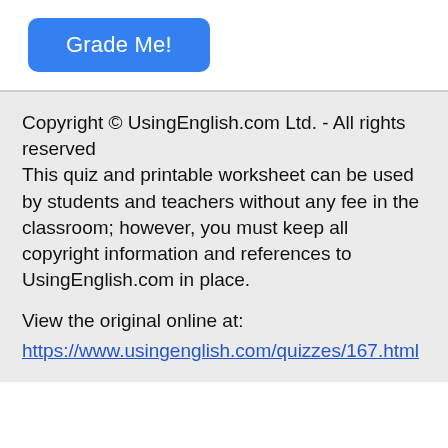[Figure (other): A blue rounded button labeled 'Grade Me!']
Copyright © UsingEnglish.com Ltd. - All rights reserved
This quiz and printable worksheet can be used by students and teachers without any fee in the classroom; however, you must keep all copyright information and references to UsingEnglish.com in place.

View the original online at:
https://www.usingenglish.com/quizzes/167.html